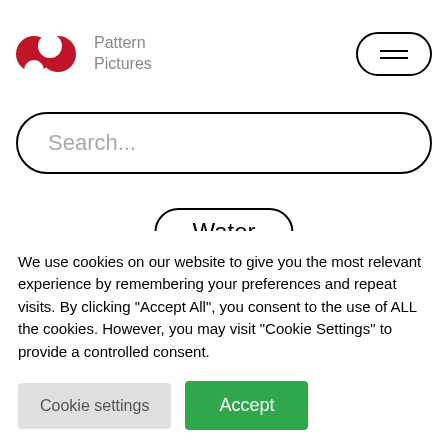Pattern Pictures
Search...
Water
Flowing fountain water
We use cookies on our website to give you the most relevant experience by remembering your preferences and repeat visits. By clicking "Accept All", you consent to the use of ALL the cookies. However, you may visit "Cookie Settings" to provide a controlled consent.
Cookie settings   Accept